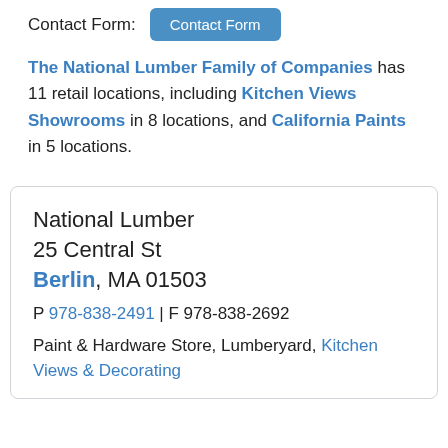Contact Form: [Contact Form button]
The National Lumber Family of Companies has 11 retail locations, including Kitchen Views Showrooms in 8 locations, and California Paints in 5 locations.
National Lumber
25 Central St
Berlin, MA 01503
P 978-838-2491 | F 978-838-2692
Paint & Hardware Store, Lumberyard, Kitchen Views & Decorating